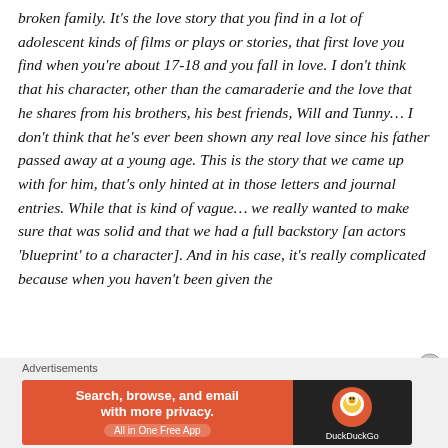broken family. It's the love story that you find in a lot of adolescent kinds of films or plays or stories, that first love you find when you're about 17-18 and you fall in love. I don't think that his character, other than the camaraderie and the love that he shares from his brothers, his best friends, Will and Tunny… I don't think that he's ever been shown any real love since his father passed away at a young age. This is the story that we came up with for him, that's only hinted at in those letters and journal entries. While that is kind of vague… we really wanted to make sure that was solid and that we had a full backstory [an actors 'blueprint' to a character]. And in his case, it's really complicated because when you haven't been given the
Advertisements
[Figure (other): DuckDuckGo advertisement banner: orange left section with bold text 'Search, browse, and email with more privacy.' and 'All in One Free App' button; dark right section with DuckDuckGo logo and text.]